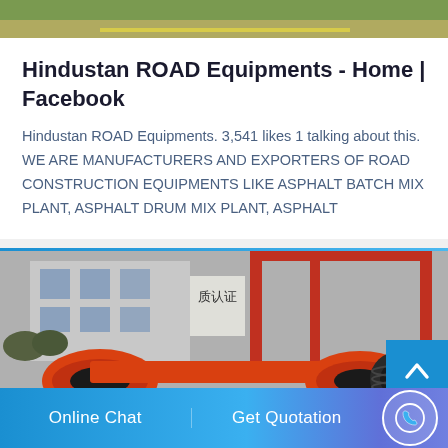[Figure (photo): Top strip showing road surface with yellow lane markings]
Hindustan ROAD Equipments - Home | Facebook
Hindustan ROAD Equipments. 3,541 likes 1 talking about this. WE ARE MANUFACTURERS AND EXPORTERS OF ROAD CONSTRUCTION EQUIPMENTS LIKE ASPHALT BATCH MIX PLANT, ASPHALT DRUM MIX PLANT, ASPHALT
[Figure (photo): Industrial road construction equipment (orange drum/roller machinery) in front of a factory building with Chinese signage and red crane structure]
Online Chat
Get Quotation